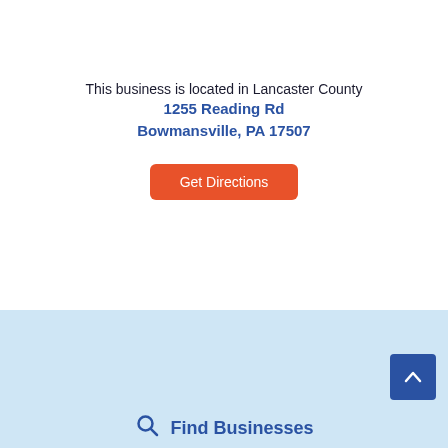This business is located in Lancaster County
1255 Reading Rd
Bowmansville, PA 17507
Get Directions
[Figure (infographic): Light blue footer section with scroll-to-top button and Find Businesses search bar]
Find Businesses